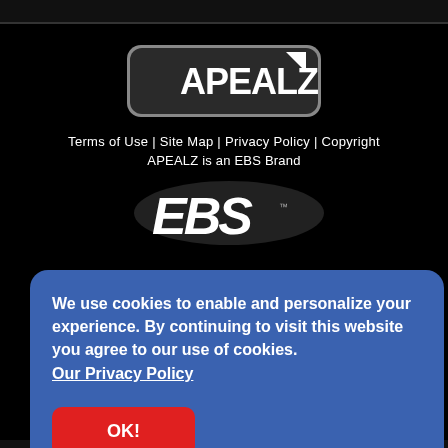[Figure (logo): APEALZ logo with black text on dark rounded rectangle with arrow icon]
Terms of Use | Site Map | Privacy Policy | Copyright
APEALZ is an EBS Brand
[Figure (logo): EBS brand logo in white italic stylized text on black background]
We use cookies to enable and personalize your experience. By continuing to visit this website you agree to our use of cookies. Our Privacy Policy
OK!
[Figure (logo): Google Pay badge, white rectangle with G Pay text]
erved.